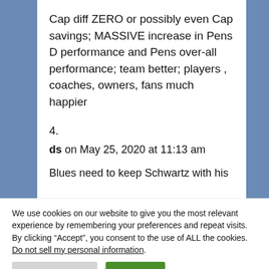Cap diff ZERO or possibly even Cap savings; MASSIVE increase in Pens D performance and Pens over-all performance; team better; players , coaches, owners, fans much happier
4.
ds on May 25, 2020 at 11:13 am
Blues need to keep Schwartz with his
We use cookies on our website to give you the most relevant experience by remembering your preferences and repeat visits. By clicking “Accept”, you consent to the use of ALL the cookies. Do not sell my personal information.